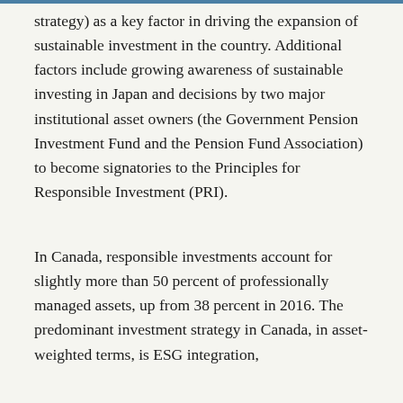strategy) as a key factor in driving the expansion of sustainable investment in the country. Additional factors include growing awareness of sustainable investing in Japan and decisions by two major institutional asset owners (the Government Pension Investment Fund and the Pension Fund Association) to become signatories to the Principles for Responsible Investment (PRI).
In Canada, responsible investments account for slightly more than 50 percent of professionally managed assets, up from 38 percent in 2016. The predominant investment strategy in Canada, in asset-weighted terms, is ESG integration,